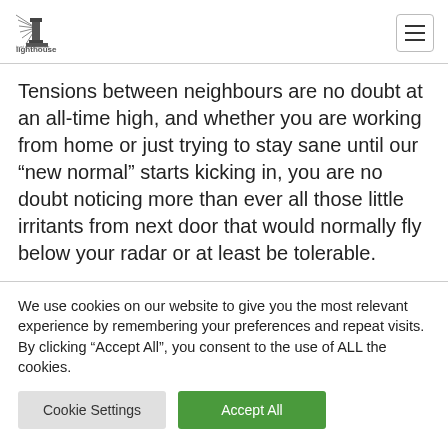lighthouse [logo]
Tensions between neighbours are no doubt at an all-time high, and whether you are working from home or just trying to stay sane until our “new normal” starts kicking in, you are no doubt noticing more than ever all those little irritants from next door that would normally fly below your radar or at least be tolerable.
We use cookies on our website to give you the most relevant experience by remembering your preferences and repeat visits. By clicking “Accept All”, you consent to the use of ALL the cookies.